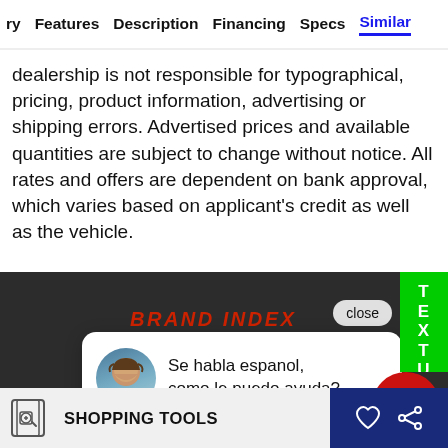ry   Features   Description   Financing   Specs   Similar
dealership is not responsible for typographical, pricing, product information, advertising or shipping errors. Advertised prices and available quantities are subject to change without notice. All rates and offers are dependent on bank approval, which varies based on applicant's credit as well as the vehicle.
[Figure (screenshot): Dark footer section with BRAND INDEX heading, close button, chat popup with avatar saying 'Se habla espanol, como le puedo ayuda?', brand list (Honda, Jeep, Kia), TEXT US button, red and green chat bubbles, shopping tools bar, blue bar with heart and share icons]
SHOPPING TOOLS